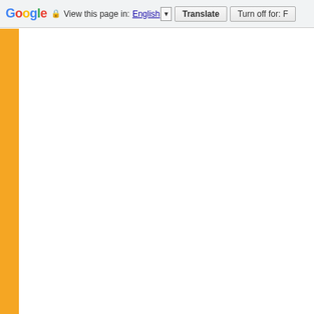Google  View this page in: English ▼  Translate  Turn off for: F
[Figure (other): Orange vertical sidebar strip on the left side of the page content area, below the Google Translate toolbar. The rest of the content area is blank white.]